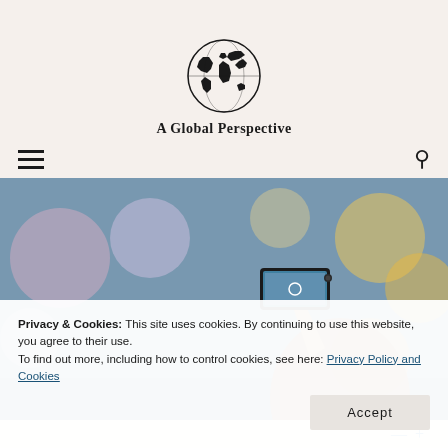[Figure (logo): A Global Perspective logo — globe illustration with text 'A Global Perspective' below it]
[Figure (photo): A person holding up a smartphone to take a photo at a crowded event, bokeh background with colorful blurred lights]
Privacy & Cookies: This site uses cookies. By continuing to use this website, you agree to their use.
To find out more, including how to control cookies, see here: Privacy Policy and Cookies